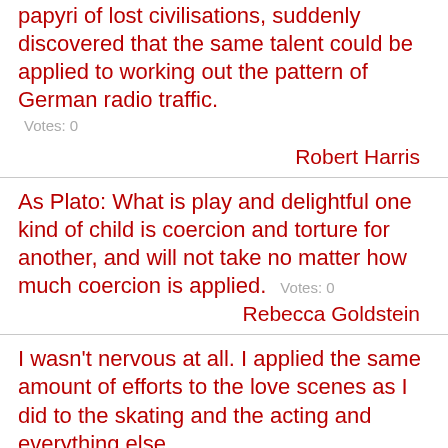papyri of lost civilisations, suddenly discovered that the same talent could be applied to working out the pattern of German radio traffic.
Votes: 0
Robert Harris
As Plato: What is play and delightful one kind of child is coercion and torture for another, and will not take no matter how much coercion is applied.   Votes: 0
Rebecca Goldstein
I wasn't nervous at all. I applied the same amount of efforts to the love scenes as I did to the skating and the acting and everything else.
Votes: 0